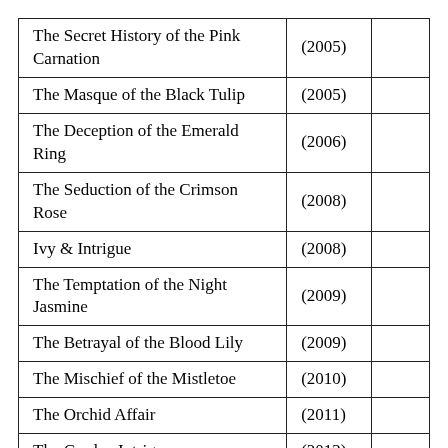| The Secret History of the Pink Carnation | (2005) |  |
| The Masque of the Black Tulip | (2005) |  |
| The Deception of the Emerald Ring | (2006) |  |
| The Seduction of the Crimson Rose | (2008) |  |
| Ivy & Intrigue | (2008) |  |
| The Temptation of the Night Jasmine | (2009) |  |
| The Betrayal of the Blood Lily | (2009) |  |
| The Mischief of the Mistletoe | (2010) |  |
| The Orchid Affair | (2011) |  |
| The Garden Intrigue | (2012) |  |